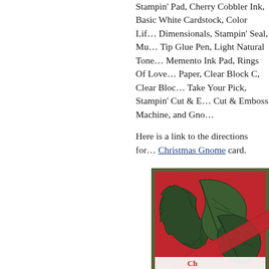Stampin' Pad, Cherry Cobbler Ink, Basic White Cardstock, Color Lifter, Dimensionals, Stampin' Seal, Multi-Tip Glue Pen, Light Natural Tones Memento Ink Pad, Rings Of Love Paper, Clear Block C, Clear Block D, Take Your Pick, Stampin' Cut & Emboss, Cut & Emboss Machine, and Gno...
Here is a link to the directions for the Christmas Gnome card.
[Figure (photo): A Christmas card close-up showing embossed dark green holly leaves with detailed leaf vein textures against a red embossed textured background, with an olive/army green border, and a partial white banner visible at the bottom.]